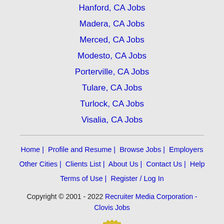Hanford, CA Jobs
Madera, CA Jobs
Merced, CA Jobs
Modesto, CA Jobs
Porterville, CA Jobs
Tulare, CA Jobs
Turlock, CA Jobs
Visalia, CA Jobs
Home | Profile and Resume | Browse Jobs | Employers | Other Cities | Clients List | About Us | Contact Us | Help | Terms of Use | Register / Log In
Copyright © 2001 - 2022 Recruiter Media Corporation - Clovis Jobs
[Figure (logo): Verified badge/seal emblem, partially visible at bottom of page]